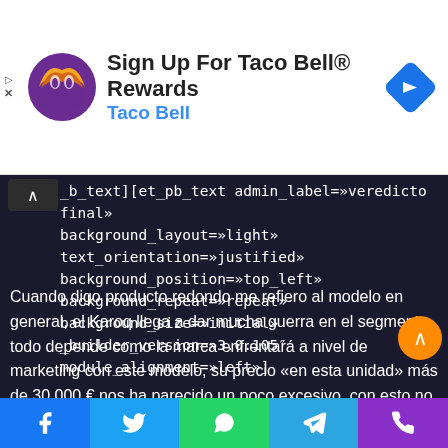[Figure (other): Taco Bell advertisement banner: logo, 'Sign Up For Taco Bell® Rewards', 'Taco Bell' subtitle in blue, navigation icon on right. Play and X buttons on left edge.]
_b_text][et_pb_text admin_label=»veredicto final» background_layout=»light» text_orientation=»justified» background_position=»top_left» background_repeat=»repeat» background_size=»initial» _builder_version=»3.0.105″ module_alignment=»left»]
Cuando digo producto redondo me refiero al modelo en general, el Karoq llega a dar mucha guerra en el segmento todo depende como la marca enfrentará a nivel de marketing con este modelo, su precio «en esta unidad» más de 30.000 € nos ha parecido un poco excesivo, con esto no quiero decir que no nos vale, pero a nivel de comparativa de otros modelos del segmento el tema se complica. Buen sucesor
[Figure (other): Social media share bar with Facebook, Twitter, WhatsApp, Telegram, and phone icons]